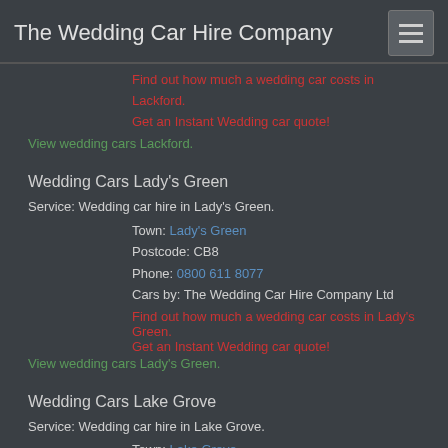The Wedding Car Hire Company
Find out how much a wedding car costs in Lackford. Get an Instant Wedding car quote!
View wedding cars Lackford.
Wedding Cars Lady's Green
Service: Wedding car hire in Lady's Green.
Town: Lady's Green
Postcode: CB8
Phone: 0800 611 8077
Cars by: The Wedding Car Hire Company Ltd
Find out how much a wedding car costs in Lady's Green. Get an Instant Wedding car quote!
View wedding cars Lady's Green.
Wedding Cars Lake Grove
Service: Wedding car hire in Lake Grove.
Town: Lake Grove
Postcode: 11755
Phone: 0800 611 8077